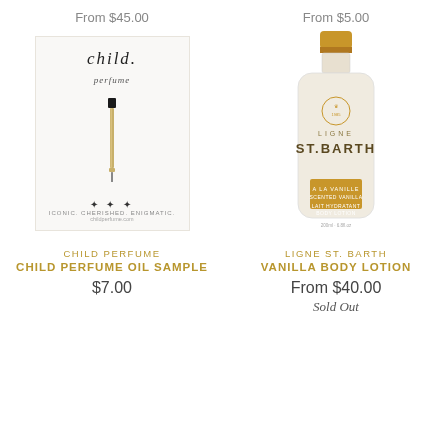From $45.00
[Figure (photo): Child Perfume product card showing a small perfume oil vial sample on a light beige card with 'child perfume' branding, three stars, and text 'ICONIC. CHERISHED. ENIGMATIC.']
CHILD PERFUME
CHILD PERFUME OIL SAMPLE
$7.00
From $5.00
[Figure (photo): Ligne St. Barth vanilla body lotion bottle — a cream-colored flat bottle with gold cap and gold label reading 'LAIT HYDRATANT BODY LOTION A LA VANILLE']
LIGNE ST. BARTH
VANILLA BODY LOTION
From $40.00
Sold Out